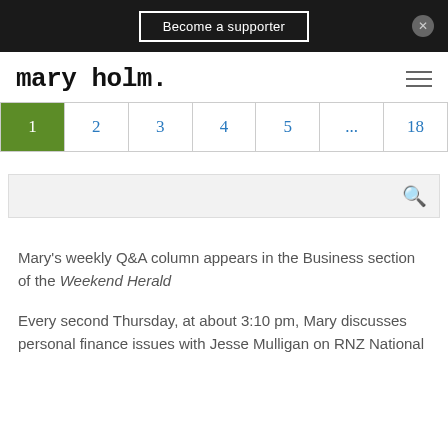Become a supporter
mary holm.
[Figure (other): Pagination bar with page numbers: 1 (active/green), 2, 3, 4, 5, ..., 18]
[Figure (other): Search bar with search icon]
Mary’s weekly Q&A column appears in the Business section of the Weekend Herald
Every second Thursday, at about 3:10 pm, Mary discusses personal finance issues with Jesse Mulligan on RNZ National